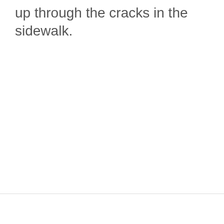up through the cracks in the sidewalk.